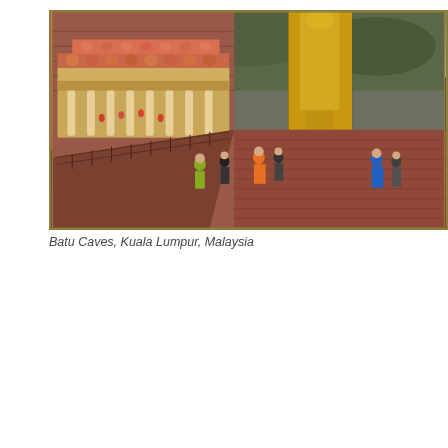[Figure (photo): Photograph of Batu Caves in Kuala Lumpur, Malaysia. Shows the famous Hindu temple complex with a large golden statue (Lord Murugan) on the right, colorful temple gopuram with decorative sculptures, steep staircases leading up the hillside, and visitors walking on a walkway. The foreground shows a red brick walkway/bridge with railings. People in colorful clothing are visible in the scene.]
Batu Caves, Kuala Lumpur, Malaysia